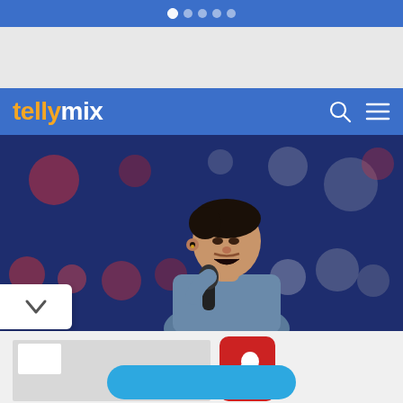Navigation dots pagination
[Figure (screenshot): Tellymix website header with logo, navigation dots, hero image of a young man singing into a microphone on stage with bokeh stage lighting, and BitLife advertisement below]
tellymix
[Figure (logo): BitLife app icon - red square with sperm cell graphic and BitLife text in yellow]